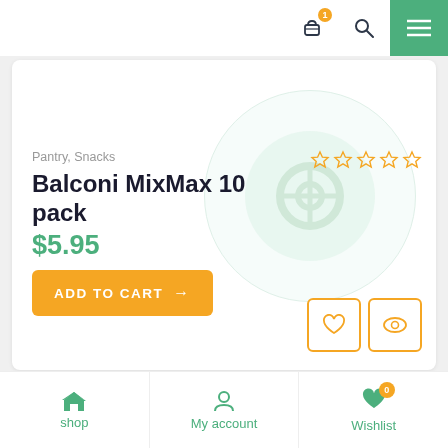Navigation bar with cart (1 item), search, and menu icons
Pantry, Snacks
Balconi MixMax 10 pack
$5.95
ADD TO CART →
[Figure (other): Five empty star rating icons in orange outline]
[Figure (other): Heart (wishlist) icon button and eye (quick view) icon button, both with orange border]
shop | My account | Wishlist (0)